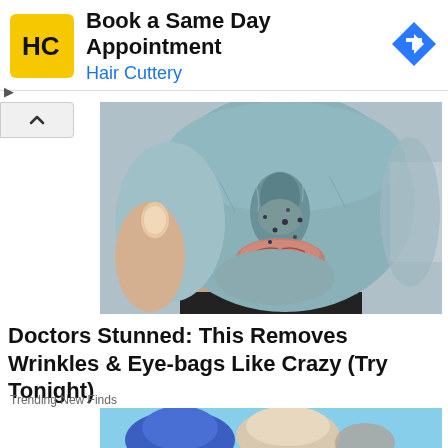[Figure (screenshot): Hair Cuttery advertisement banner with yellow HC logo, text 'Book a Same Day Appointment' and 'Hair Cuttery' in blue, and a blue diamond navigation arrow icon on the right]
[Figure (photo): Close-up photo of a person's lower face covered in a blue/grey clay face mask with dark spots, showing lips and a hand touching the chin]
Doctors Stunned: This Removes Wrinkles & Eye-bags Like Crazy (Try Tonight)
Trending New Finds
[Figure (photo): Partial image of people wearing surgical/shower caps outdoors against a blue sky]